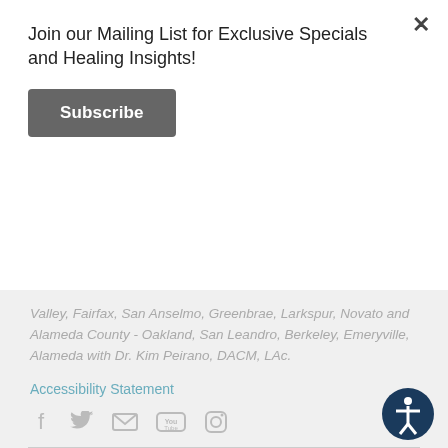Join our Mailing List for Exclusive Specials and Healing Insights!
Subscribe
Valley, Fairfax, San Anselmo, Greenbrae, Larkspur, Novato and Alameda County - Oakland, San Leandro, Berkeley, Emeryville, Alameda with Dr. Kim Peirano, DACM, LAc.
Accessibility Statement
[Figure (infographic): Social media icons: Facebook, Twitter, Email, YouTube, Instagram]
HOURS
San Rafael:
Tues / Fri  10am - 6pm
Thurs 10am-7pm